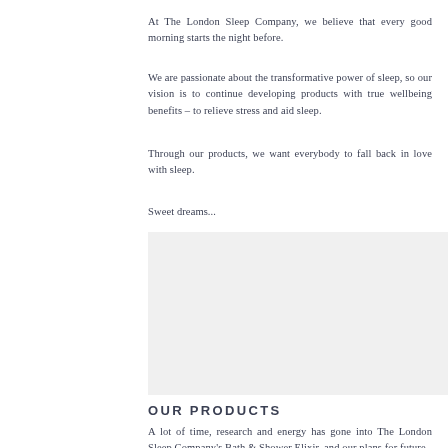At The London Sleep Company, we believe that every good morning starts the night before.
We are passionate about the transformative power of sleep, so our vision is to continue developing products with true wellbeing benefits – to relieve stress and aid sleep.
Through our products, we want everybody to fall back in love with sleep.
Sweet dreams...
[Figure (photo): A light grey placeholder image area, likely a product or lifestyle photograph.]
OUR PRODUCTS
A lot of time, research and energy has gone into The London Sleep Company's Bath &amp; Shower Elixir, and our plans for future